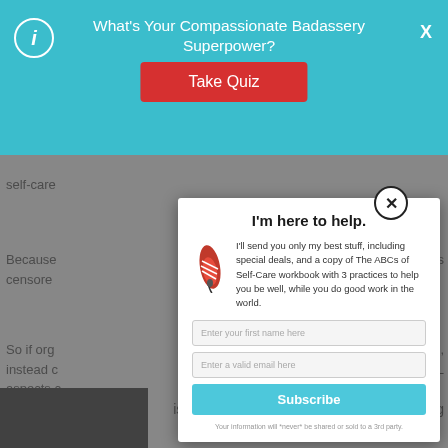[Figure (screenshot): Website screenshot with teal header bar showing quiz promotion and a modal popup for email subscription]
What's Your Compassionate Badassery Superpower?
[Figure (other): Take Quiz button in red]
I'm here to help.
I'll send you only my best stuff, including special deals, and a copy of The ABCs of Self-Care workbook with 3 practices to help you be well, while you do good work in the world.
Enter your first name here
Enter a valid email here
Subscribe
Your information will *never* be shared or sold to a 3rd party.